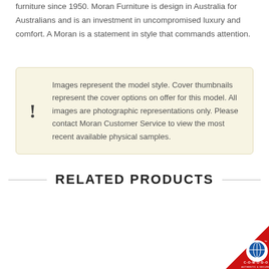furniture since 1950. Moran Furniture is design in Australia for Australians and is an investment in uncompromised luxury and comfort. A Moran is a statement in style that commands attention.
Images represent the model style. Cover thumbnails represent the cover options on offer for this model. All images are photographic representations only. Please contact Moran Customer Service to view the most recent available physical samples.
RELATED PRODUCTS
[Figure (logo): Comodo Authentic & Secure badge/logo in bottom right corner]